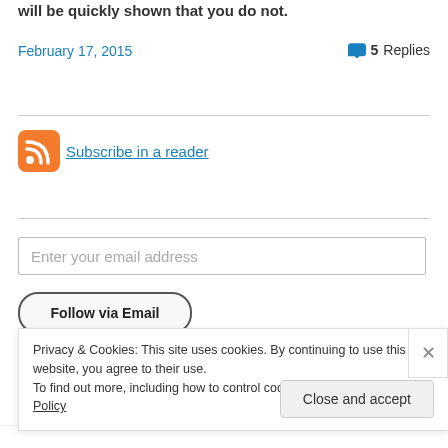will be quickly shown that you do not.
February 17, 2015
5 Replies
[Figure (other): RSS feed icon - orange rounded square with white RSS signal waves]
Subscribe in a reader
Enter your email address
Follow via Email
Privacy & Cookies: This site uses cookies. By continuing to use this website, you agree to their use.
To find out more, including how to control cookies, see here: Cookie Policy
Close and accept